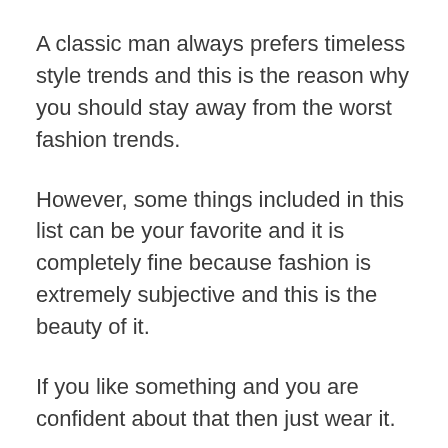A classic man always prefers timeless style trends and this is the reason why you should stay away from the worst fashion trends.
However, some things included in this list can be your favorite and it is completely fine because fashion is extremely subjective and this is the beauty of it.
If you like something and you are confident about that then just wear it.
We just want to help you become your best version and in this order, let’s know about the worst fashion trends that you should avoid in